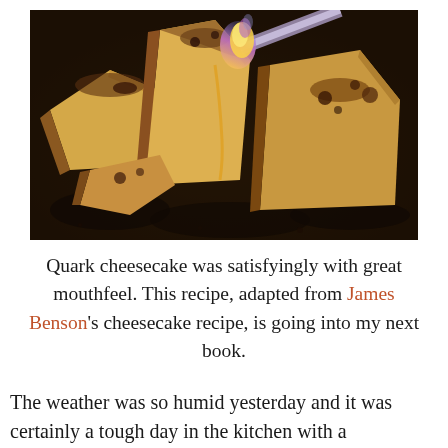[Figure (photo): Close-up photo of pieces of brûléed quark cheesecake on a dark tray, with a kitchen torch flame visible at the top, caramelizing the sugar surface of one piece.]
Quark cheesecake was satisfyingly with great mouthfeel. This recipe, adapted from James Benson's cheesecake recipe, is going into my next book.
The weather was so humid yesterday and it was certainly a tough day in the kitchen with a